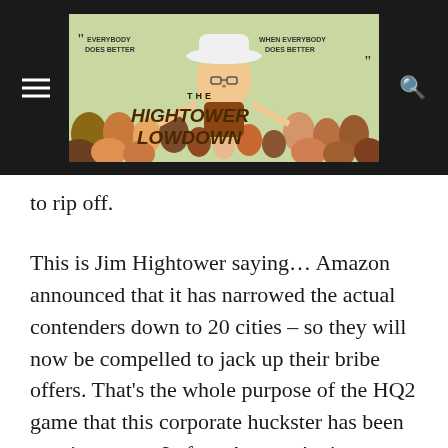[Figure (logo): The Hightower Lowdown website header banner with cartoon illustration of a man in a cowboy hat surrounded by diverse crowd, with text 'Everybody Does Better When Everybody Does Better' and 'The Hightower Lowdown']
to rip off.
This is Jim Hightower saying… Amazon announced that it has narrowed the actual contenders down to 20 cities – so they will now be compelled to jack up their bribe offers. That's the whole purpose of the HQ2 game that this corporate huckster has been running on us. In fact, Amazon's site-location team had decided from the start